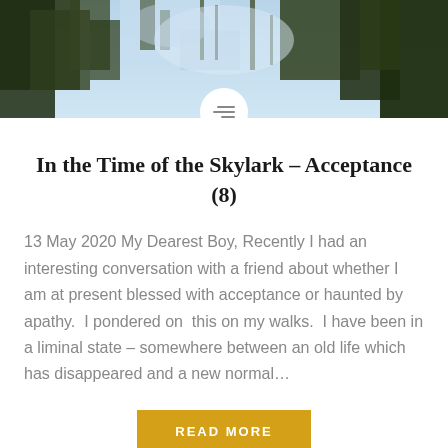[Figure (photo): Forest canopy photo header showing trees with blue sky visible through the branches, used as a decorative banner at the top of the blog page.]
In the Time of the Skylark – Acceptance (8)
13 May 2020 My Dearest Boy, Recently I had an interesting conversation with a friend about whether I am at present blessed with acceptance or haunted by apathy.  I pondered on  this on my walks.  I have been in a liminal state – somewhere between an old life which has disappeared and a new normal…